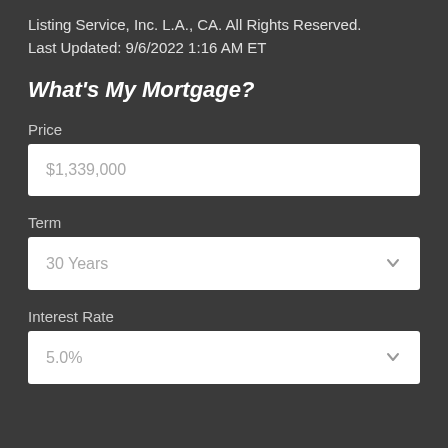Listing Service, Inc. L.A., CA. All Rights Reserved.
Last Updated: 9/6/2022 1:16 AM ET
What's My Mortgage?
Price
$1,339,000
Term
30 Years
Interest Rate
5.0%